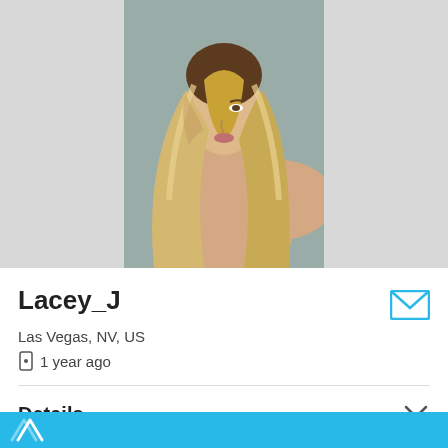[Figure (photo): Profile photo of a blonde woman photographed from behind, looking over her shoulder, with long wavy blonde hair, against a neutral background.]
Lacey_J
Las Vegas, NV, US
1 year ago
Details